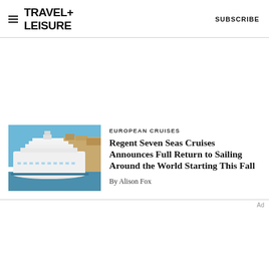TRAVEL+ LEISURE   SUBSCRIBE
[Figure (photo): A large white cruise ship docked near a harbor with golden-stone buildings and a blue sky in the background.]
EUROPEAN CRUISES
Regent Seven Seas Cruises Announces Full Return to Sailing Around the World Starting This Fall
By Alison Fox